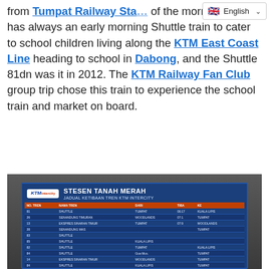from Tumpat Railway Station of the morning. There has always an early morning Shuttle train to cater to school children living along the KTM East Coast Line heading to school in Dabong, and the Shuttle 81dn was it in 2012. The KTM Railway Fan Club group trip chose this train to experience the school train and market on board.
[Figure (photo): Photo of a KTM Intercity train schedule board at Stesen Tanah Merah (STESEN TANAH MERAH) showing JADUAL KETIBAAN TREN KTM INTERCITY (KTM Intercity train arrival schedule). The board is blue with multiple rows listing train services, shuttle trains, and express services with columns for train numbers, service names, origin, arrival times, and destinations.]